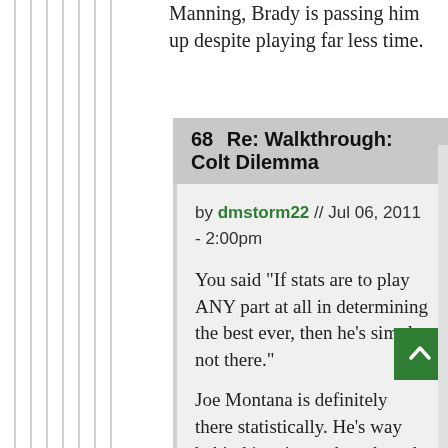Manning, Brady is passing him up despite playing far less time.
68  Re: Walkthrough: Colt Dilemma
by dmstorm22 // Jul 06, 2011 - 2:00pm
You said "If stats are to play ANY part at all in determining the best ever, then he's simply not there."
Joe Montana is definitely there statistically. He's way behind in wins and yards and tds and all that because he got hurt a lot. Joe Montana